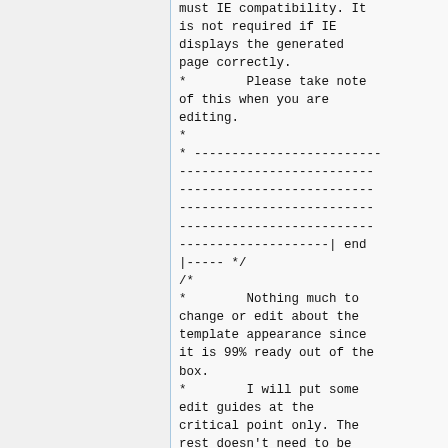must IE compatibility. It is not required if IE displays the generated page correctly.
*        Please take note of this when you are editing.
*
* -------------------------
--------------------------
--------------------------
--------------------------
--------------------------
--------------------| end
|----- */
/*
*        Nothing much to change or edit about the template appearance since it is 99% ready out of the box.
*        I will put some edit guides at the critical point only. The rest doesn't need to be edited, dear users.